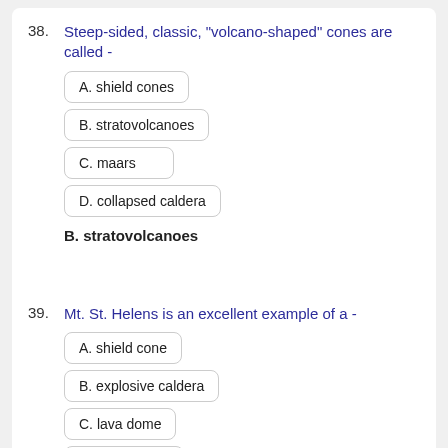38. Steep-sided, classic, "volcano-shaped" cones are called -
A. shield cones
B. stratovolcanoes
C. maars
D. collapsed caldera
B. stratovolcanoes
39. Mt. St. Helens is an excellent example of a -
A. shield cone
B. explosive caldera
C. lava dome
D. cinder cone